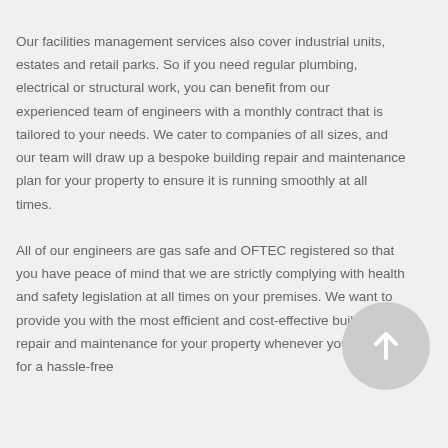Our facilities management services also cover industrial units, estates and retail parks. So if you need regular plumbing, electrical or structural work, you can benefit from our experienced team of engineers with a monthly contract that is tailored to your needs. We cater to companies of all sizes, and our team will draw up a bespoke building repair and maintenance plan for your property to ensure it is running smoothly at all times.

All of our engineers are gas safe and OFTEC registered so that you have peace of mind that we are strictly complying with health and safety legislation at all times on your premises. We want to provide you with the most efficient and cost-effective building repair and maintenance for your property whenever you need it for a hassle-free